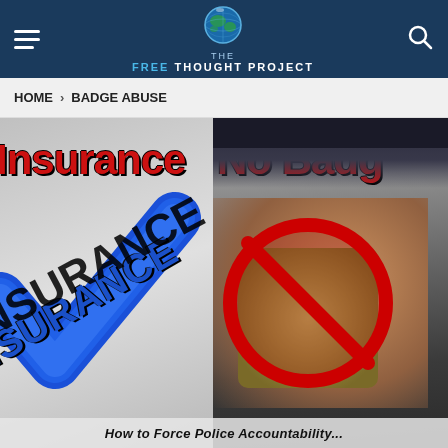The Free Thought Project — HOME > BADGE ABUSE
HOME > BADGE ABUSE
[Figure (illustration): Two-panel composite image. Left panel: white/grey background with large bold red text 'Insurance' at top, a large blue checkmark overlaid on diagonal blue text 'INSURANCE'. Right panel: dark photo of uniformed officer's torso holding a police badge, with red 'No Badge' text at top and a red circle-and-slash symbol overlaid on the badge. Bottom shows partial italic text.]